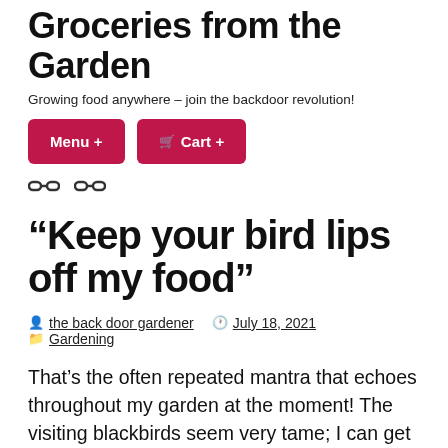Groceries from the Garden
Growing food anywhere – join the backdoor revolution!
[Figure (screenshot): Two red rounded buttons labeled 'Menu +' and 'Cart +']
[Figure (other): Two chain link icons]
“Keep your bird lips off my food”
By the back door gardener  |  July 18, 2021  |  Gardening
That’s the often repeated mantra that echoes throughout my garden at the moment! The visiting blackbirds seem very tame; I can get ridiculously close to them. One clever couple have raised